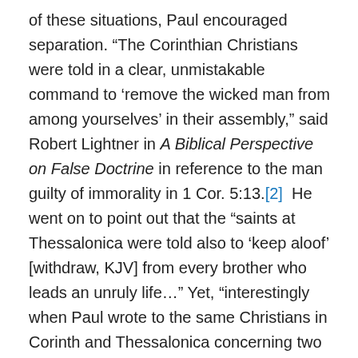of these situations, Paul encouraged separation. “The Corinthian Christians were told in a clear, unmistakable command to ‘remove the wicked man from among yourselves’ in their assembly,” said Robert Lightner in A Biblical Perspective on False Doctrine in reference to the man guilty of immorality in 1 Cor. 5:13.[2]  He went on to point out that the “saints at Thessalonica were told also to ‘keep aloof’ [withdraw, KJV] from every brother who leads an unruly life…” Yet, “interestingly when Paul wrote to the same Christians in Corinth and Thessalonica concerning two specific doctrines which were being denied…he did not command to separate.” Why is it, then, that if such a key fundamental was believed back then, and Paul did not command the church to separate, do fundamentalists find it necessary to break fellowship with and label “liberal” and “modernistic” those who have a different view of